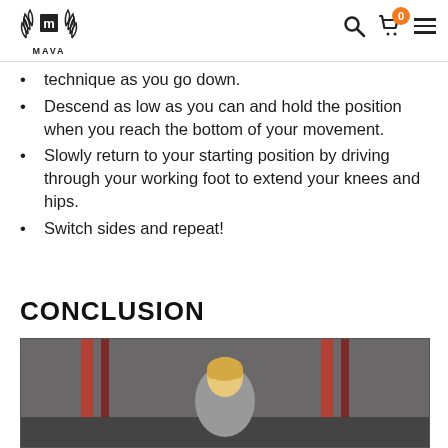MAVA
technique as you go down.
Descend as low as you can and hold the position when you reach the bottom of your movement.
Slowly return to your starting position by driving through your working foot to extend your knees and hips.
Switch sides and repeat!
CONCLUSION
[Figure (photo): Person exercising in a gym with red equipment visible in the background]